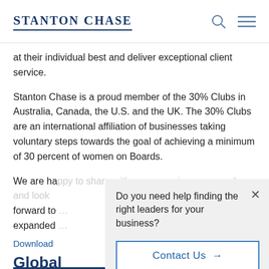Stanton Chase
at their individual best and deliver exceptional client service.
Stanton Chase is a proud member of the 30% Clubs in Australia, Canada, the U.S. and the UK. The 30% Clubs are an international affiliation of businesses taking voluntary steps towards the goal of achieving a minimum of 30 percent of women on Boards.
We are happy to share with you our unique approach and look forward to expanded
Do you need help finding the right leaders for your business?
Contact Us →
Download
Global